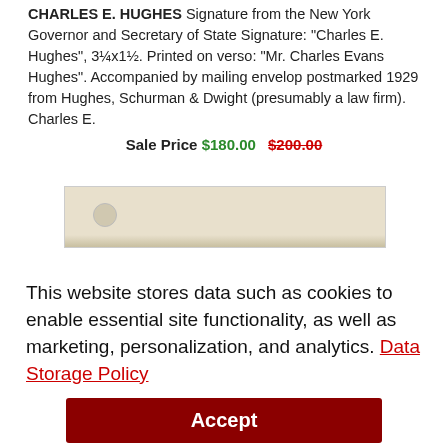CHARLES E. HUGHES Signature from the New York Governor and Secretary of State Signature: "Charles E. Hughes", 3¼x1½. Printed on verso: "Mr. Charles Evans Hughes". Accompanied by mailing envelop postmarked 1929 from Hughes, Schurman & Dwight (presumably a law firm). Charles E.
Sale Price $180.00  $200.00
[Figure (photo): A photograph of an aged off-white/beige card or document with a circular hole or seal visible on the left side, and partial handwriting visible at the bottom.]
This website stores data such as cookies to enable essential site functionality, as well as marketing, personalization, and analytics. Data Storage Policy
Accept
Deny